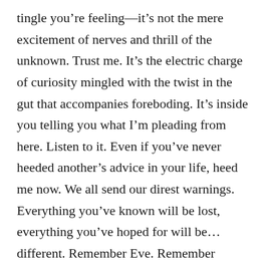tingle you're feeling—it's not the mere excitement of nerves and thrill of the unknown. Trust me. It's the electric charge of curiosity mingled with the twist in the gut that accompanies foreboding. It's inside you telling you what I'm pleading from here. Listen to it. Even if you've never heeded another's advice in your life, heed me now. We all send our direst warnings. Everything you've known will be lost, everything you've hoped for will be…different. Remember Eve. Remember Pandora. Recall the handwriting on the wall, and the curious cat. It did not end well. No, not death. That's not the fear here. At least, not now. This is different, worse. Yes, worse. At the risk of repetition, it's beyond all you have